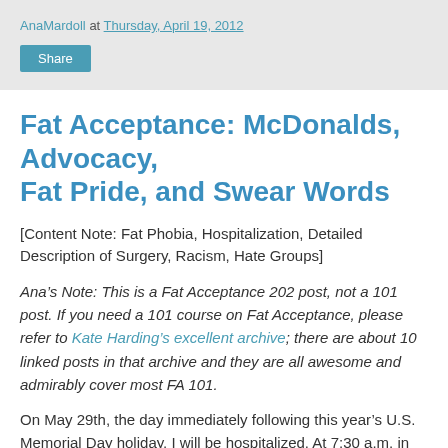AnaMardoll at Thursday, April 19, 2012
Share
Fat Acceptance: McDonalds, Advocacy, Fat Pride, and Swear Words
[Content Note: Fat Phobia, Hospitalization, Detailed Description of Surgery, Racism, Hate Groups]
Ana’s Note: This is a Fat Acceptance 202 post, not a 101 post. If you need a 101 course on Fat Acceptance, please refer to Kate Harding’s excellent archive; there are about 10 linked posts in that archive and they are all awesome and admirably cover most FA 101.
On May 29th, the day immediately following this year’s U.S. Memorial Day holiday, I will be hospitalized. At 7:30 a.m. in Central Standard Time, I will be wheeled on a stretcher into